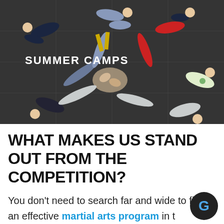[Figure (photo): Children lying on the floor in a star/circle formation, viewed from above, on a dark mat floor. A 'SUMMER CAMPS' label is overlaid in white text.]
WHAT MAKES US STAND OUT FROM THE COMPETITION?
You don't need to search far and wide to find an effective martial arts program in the Omaha, NE area. Look no further than the